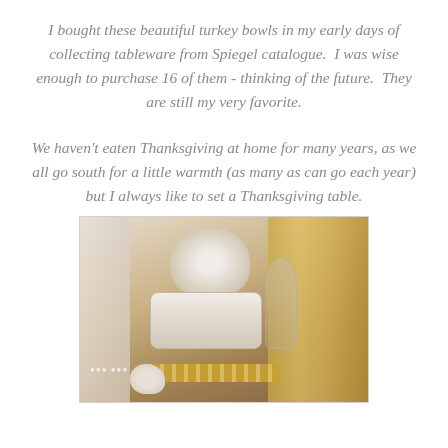I bought these beautiful turkey bowls in my early days of collecting tableware from Spiegel catalogue.  I was wise enough to purchase 16 of them - thinking of the future.  They are still my very favorite.
We haven't eaten Thanksgiving at home for many years, as we all go south for a little warmth (as many as can go each year) but I always like to set a Thanksgiving table.
[Figure (photo): A Thanksgiving table setting photographed from above at an angle, featuring a crystal or glass turkey bowl as a centerpiece, stacked white plates, a wine glass, gold cutlery, crystal glassware on the right side, and a swan decoration, all arranged on a warm brown wooden table.]